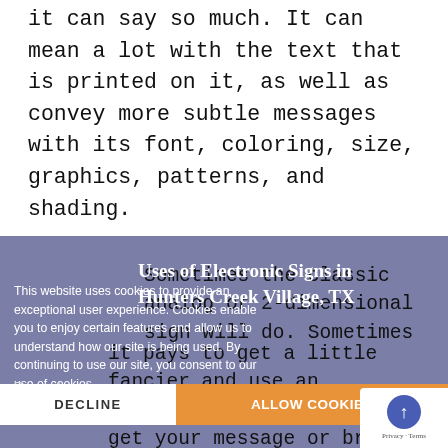it can say so much. It can mean a lot with the text that is printed on it, as well as convey more subtle messages with its font, coloring, size, graphics, patterns, and shading.
Uses of Electronic Signs in Hunters Creek Village, TX
This website uses cookies to provide an exceptional user experience. Cookies enable you to enjoy certain features and allow us to understand how our site is being used. By continuing to use our site, you consent to our use of cookies.
Sometimes the classic analog or 2-dimensional sign will do. Sometimes it pays to get a little fancier and use an electronic message board to get your message or brand noticed. Electronic signs do stand out more than an analog sign. They are brighter, more vivid, and more dynamic. Electronic signs are especially attractive...
Remember
DECLINE
ALLOW COOKIES